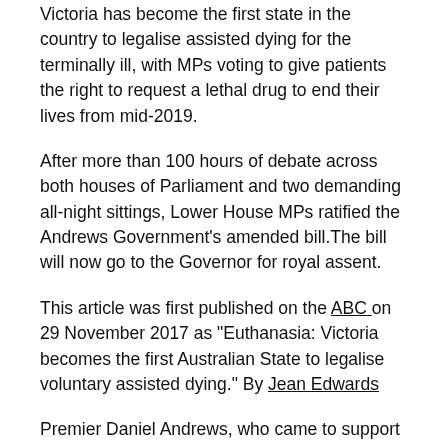Victoria has become the first state in the country to legalise assisted dying for the terminally ill, with MPs voting to give patients the right to request a lethal drug to end their lives from mid-2019.
After more than 100 hours of debate across both houses of Parliament and two demanding all-night sittings, Lower House MPs ratified the Andrews Government's amended bill.The bill will now go to the Governor for royal assent.
This article was first published on the ABC on 29 November 2017 as "Euthanasia: Victoria becomes the first Australian State to legalise voluntary assisted dying." By Jean Edwards
Premier Daniel Andrews, who came to support euthanasia after the death of his father last year, said it was an historic day.
"This is a day of reform, a day of compassion, a day of giving...